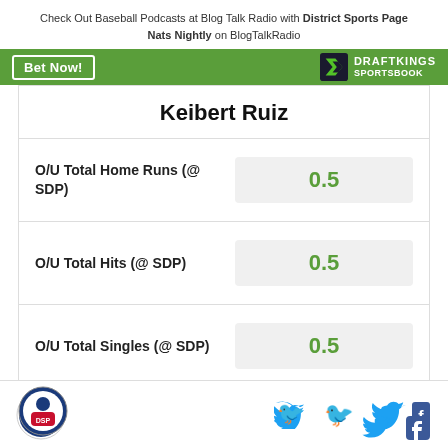Check Out Baseball Podcasts at Blog Talk Radio with District Sports Page Nats Nightly on BlogTalkRadio
[Figure (infographic): DraftKings Sportsbook betting widget showing Keibert Ruiz player props with Bet Now button and DraftKings Sportsbook logo on green bar]
Keibert Ruiz
| Stat | Line |
| --- | --- |
| O/U Total Home Runs (@ SDP) | 0.5 |
| O/U Total Hits (@ SDP) | 0.5 |
| O/U Total Singles (@ SDP) | 0.5 |
Odds/Lines subject to change. See draftkings.com for details.
District Sports Page logo, Twitter icon, Facebook icon